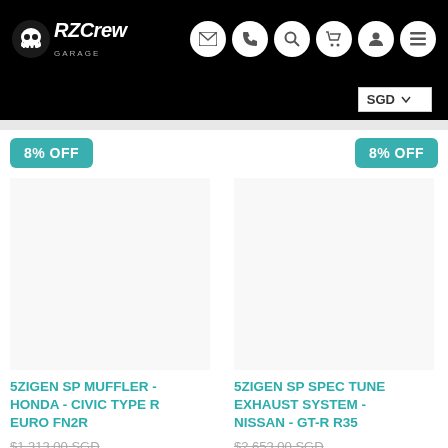[Figure (logo): RZCrew Garage skull logo with brand name on black header]
SGD
8% OFF
5ZIGEN SP MUFFLER - HONDA - CIVIC TYPE R EURO FN2R
$1,313.00 SGD
$1,206.70 SGD
8% OFF
5ZIGEN SP SPEC TUNE EXHAUST SYSTEM - NISSAN - GT-R R35
$2,653.00 SGD
$2,438.00 SGD